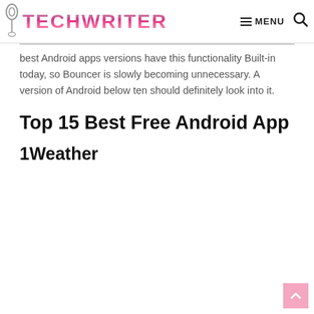TECHWRITER — MENU
best Android apps versions have this functionality Built-in today, so Bouncer is slowly becoming unnecessary. A version of Android below ten should definitely look into it.
Top 15 Best Free Android App
1Weather